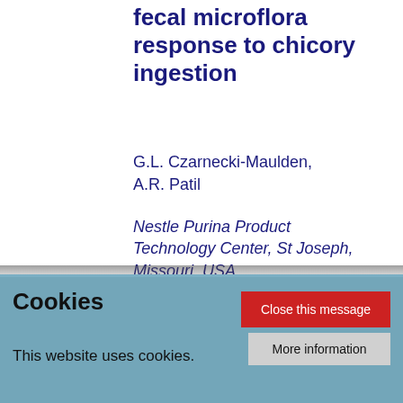fecal microflora response to chicory ingestion
G.L. Czarnecki-Maulden, A.R. Patil
Nestle Purina Product Technology Center, St Joseph, Missouri, USA
Consumption of inulin, a rich source of fructooligosaccharides, a soluble fibre, results in increased fecal bifidobacteria in dogs (Czarnecki-Maulden...
Cookies
This website uses cookies.
Close this message
More information